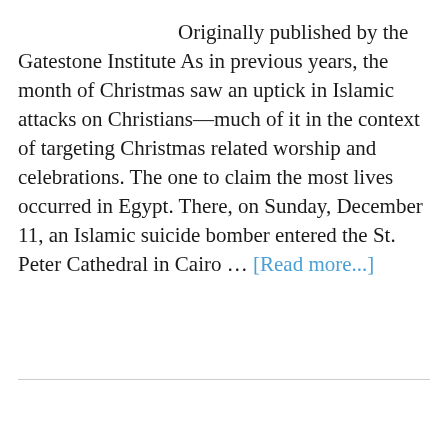Originally published by the Gatestone Institute As in previous years, the month of Christmas saw an uptick in Islamic attacks on Christians—much of it in the context of targeting Christmas related worship and celebrations. The one to claim the most lives occurred in Egypt. There, on Sunday, December 11, an Islamic suicide bomber entered the St. Peter Cathedral in Cairo … [Read more...]